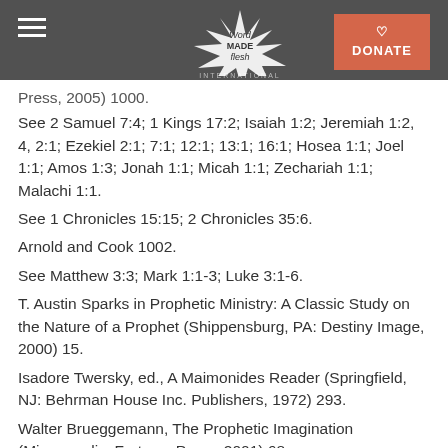Word Made Flesh International — header bar with hamburger menu and DONATE button
Press, 2005) 1000.
See 2 Samuel 7:4; 1 Kings 17:2; Isaiah 1:2; Jeremiah 1:2, 4, 2:1; Ezekiel 2:1; 7:1; 12:1; 13:1; 16:1; Hosea 1:1; Joel 1:1; Amos 1:3; Jonah 1:1; Micah 1:1; Zechariah 1:1; Malachi 1:1.
See 1 Chronicles 15:15; 2 Chronicles 35:6.
Arnold and Cook 1002.
See Matthew 3:3; Mark 1:1-3; Luke 3:1-6.
T. Austin Sparks in Prophetic Ministry: A Classic Study on the Nature of a Prophet (Shippensburg, PA: Destiny Image, 2000) 15.
Isadore Twersky, ed., A Maimonides Reader (Springfield, NJ: Behrman House Inc. Publishers, 1972) 293.
Walter Brueggemann, The Prophetic Imagination (Minneapolis: Fortress Press, 2001) 68.
Brueggemann 69.
See 2 Kings 17:13; Hosea 9:8; Amos 3:7; Jeremiah 25:4; 26:5; Haggai 1:13; Jeremiah 6:27; Ezekiel 3:17.